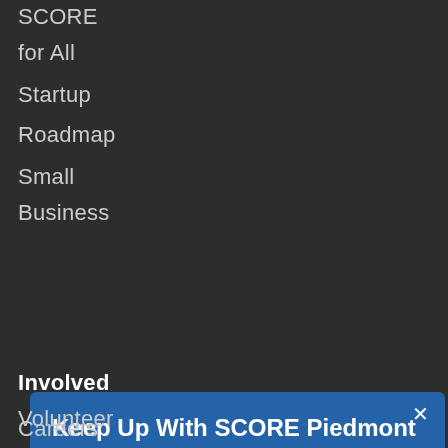SCORE
for All
Startup
Roadmap
Small
Business
[Figure (screenshot): Modal popup with title 'Keep Up With SCORE Piedmont', descriptive text, email input field, and SUBMIT button on a blue background with a close (x) button in the top right corner.]
Involved
Volunteer
Careers